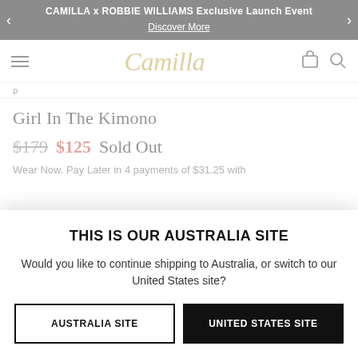CAMILLA x ROBBIE WILLIAMS Exclusive Launch Event
Discover More
[Figure (logo): Camilla brand logo in gold script font]
Girl In The Kimono
$179  $125  Sold Out
Wear Now. Pay Later in 4 payments of $31.25 with
THIS IS OUR AUSTRALIA SITE
Would you like to continue shipping to Australia, or switch to our United States site?
AUSTRALIA SITE
UNITED STATES SITE